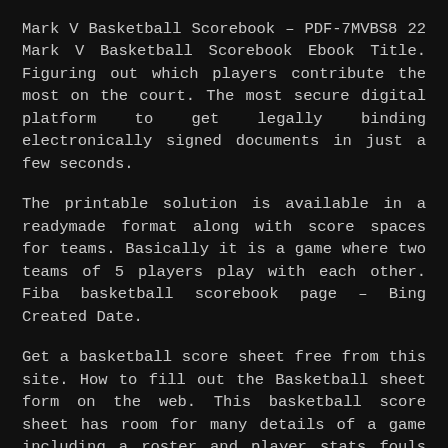Mark V Basketball Scorebook – PDF-7MVBS8 22 Mark V Basketball Scorebook Ebook Title. Figuring out which players contribute the most on the court. The most secure digital platform to get legally binding electronically signed documents in just a few seconds.
The printable solution is available in a readymade format along with score spaces for teams. Basically it is a game where two teams of 5 players play with each other. Fiba basketball scorebook page – Bing Created Date.
Get a basketball score sheet free from this site. How to fill out the Basketball sheet form on the web. This basketball score sheet has room for many details of a game including a roster and player stats fouls scoring free throws and the ability to track the running score for both the home and visiting teams.
There are also national teams of basketball that play domestically with other states and there are international leagues of basketball as well where teams of different countries play with each other. First of all you can create a Basketball score sheet using any program like the Microsoft word Microsoft